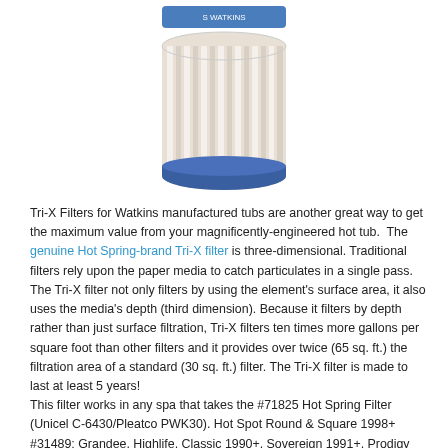[Figure (photo): Photo of a cylindrical pleated hot tub filter cartridge with white pleated media and blue top and bottom rings, with a Watkins/Hot Spring brand label at top.]
Tri-X Filters for Watkins manufactured tubs are another great way to get the maximum value from your magnificently-engineered hot tub. The genuine Hot Spring-brand Tri-X filter is three-dimensional. Traditional filters rely upon the paper media to catch particulates in a single pass. The Tri-X filter not only filters by using the element's surface area, it also uses the media's depth (third dimension). Because it filters by depth rather than just surface filtration, Tri-X filters ten times more gallons per square foot than other filters and it provides over twice (65 sq. ft.) the filtration area of a standard (30 sq. ft.) filter. The Tri-X filter is made to last at least 5 years!
This filter works in any spa that takes the #71825 Hot Spring Filter (Unicel C-6430/Pleatco PWK30). Hot Spot Round & Square 1998+ #31489; Grandee, Highlife, Classic 1990+, Sovereign 1991+, Prodigy